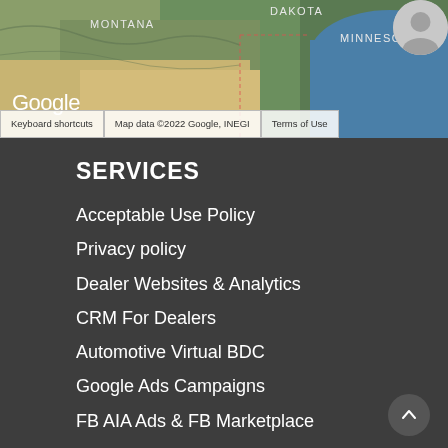[Figure (map): Google Maps screenshot showing parts of Montana, Dakota, and Minnesota with terrain view. Shows Google logo watermark, Keyboard shortcuts, Map data ©2022 Google INEGI, and Terms of Use labels.]
SERVICES
Acceptable Use Policy
Privacy policy
Dealer Websites & Analytics
CRM For Dealers
Automotive Virtual BDC
Google Ads Campaigns
FB AIA Ads & FB Marketplace
Talk2Leads